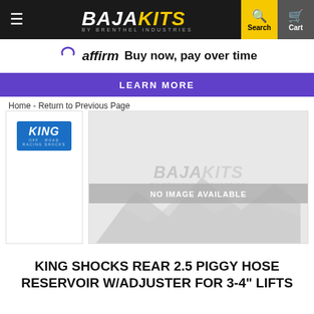[Figure (screenshot): BajaKits by Brenthel Industries navigation bar with hamburger menu, logo, search and cart icons]
[Figure (logo): Affirm logo with text: Buy now, pay over time]
LEARN MORE
Home - Return to Previous Page
[Figure (logo): King Off-Road Racing Shocks logo in blue]
[Figure (photo): Product image placeholder showing BajaKits watermark with NO IMAGE AVAILABLE overlay and mountain landscape]
KING SHOCKS REAR 2.5 PIGGY HOSE RESERVOIR W/ADJUSTER FOR 3-4" LIFTS